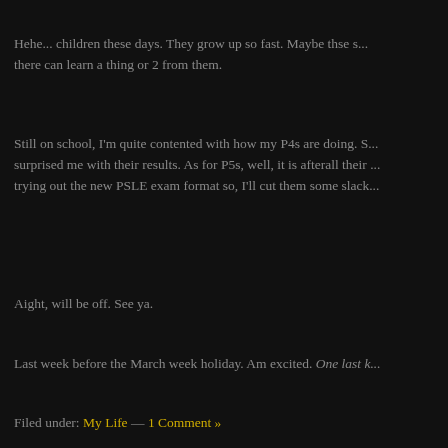Hehe... children these days. They grow up so fast. Maybe thse s... there can learn a thing or 2 from them.
Still on school, I'm quite contented with how my P4s are doing. S... surprised me with their results. As for P5s, well, it is afterall their ... trying out the new PSLE exam format so, I'll cut them some slack...
Aight, will be off. See ya.
Last week before the March week holiday. Am excited. One last k...
Filed under: My Life — 1 Comment »
[Figure (photo): Small portrait photo of a young toddler child smiling, with dark hair, wearing pink clothing]
[Figure (other): Lilypie banner image with logo text and a stork illustration, showing Error: File Not Found message]